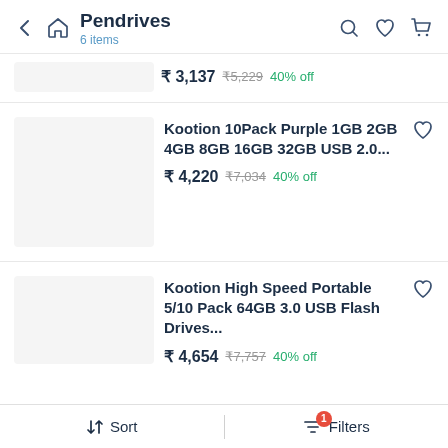Pendrives — 6 items
₹ 3,137 ₹5,229 40% off
Kootion 10Pack Purple 1GB 2GB 4GB 8GB 16GB 32GB USB 2.0... ₹ 4,220 ₹7,034 40% off
Kootion High Speed Portable 5/10 Pack 64GB 3.0 USB Flash Drives... ₹ 4,654 ₹7,757 40% off
↕ Sort | Filters